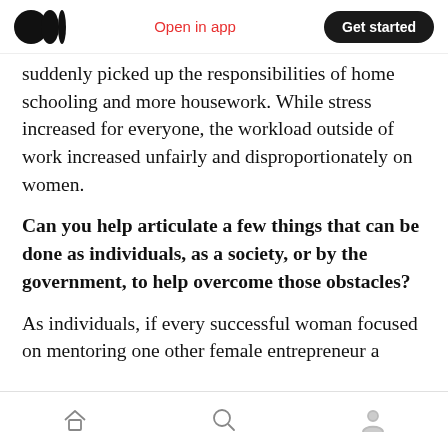Medium app header — Open in app | Get started
suddenly picked up the responsibilities of home schooling and more housework. While stress increased for everyone, the workload outside of work increased unfairly and disproportionately on women.
Can you help articulate a few things that can be done as individuals, as a society, or by the government, to help overcome those obstacles?
As individuals, if every successful woman focused on mentoring one other female entrepreneur a
Bottom navigation bar — Home | Search | Profile